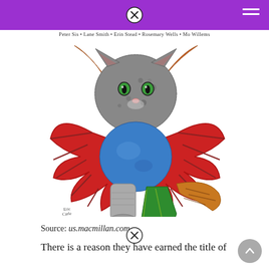Peter Sis • Lane Smith • Erin Stead • Rosemary Wells • Mo Willems
[Figure (illustration): Colorful collage illustration of a fantastical creature with a gray cat head with green eyes and orange horns, large red wings spread wide, a blue round body, gray elephant-like front leg, green claw-like back legs, and an orange-brown striped tail. Signed 'Eric Carle' at bottom left.]
Source: us.macmillan.com
There is a reason they have earned the title of